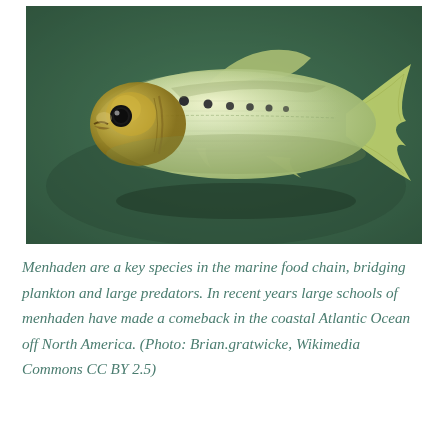[Figure (photo): A photograph of a menhaden fish swimming against a dark green aquatic background. The fish is silver-colored with a yellow-green tint, has a visible round dark eye, a gold-tinged head, and a row of dark spots along its upper side behind the gill. Its tail fin is yellowish.]
Menhaden are a key species in the marine food chain, bridging plankton and large predators. In recent years large schools of menhaden have made a comeback in the coastal Atlantic Ocean off North America. (Photo: Brian.gratwicke, Wikimedia Commons CC BY 2.5)